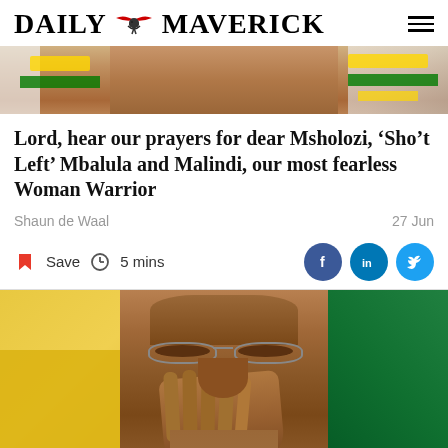DAILY MAVERICK
[Figure (photo): Top strip photo showing a person in ANC green and gold colors]
Lord, hear our prayers for dear Msholozi, ‘Sho’t Left’ Mbalula and Malindi, our most fearless Woman Warrior
Shaun de Waal
27 Jun
Save  5 mins
[Figure (photo): Close-up photo of an elderly man with glasses pressing his hands together in a prayer-like gesture, eyes closed, with yellow and green ANC colors in the background]